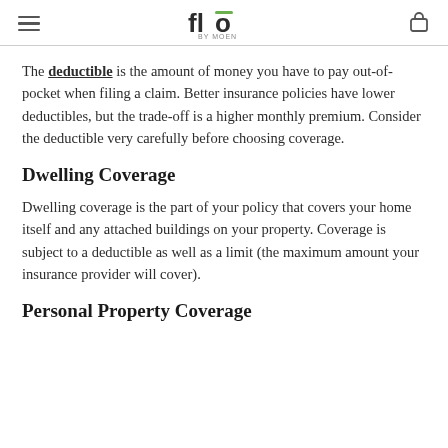Flo by Moen
The deductible is the amount of money you have to pay out-of-pocket when filing a claim. Better insurance policies have lower deductibles, but the trade-off is a higher monthly premium. Consider the deductible very carefully before choosing coverage.
Dwelling Coverage
Dwelling coverage is the part of your policy that covers your home itself and any attached buildings on your property. Coverage is subject to a deductible as well as a limit (the maximum amount your insurance provider will cover).
Personal Property Coverage